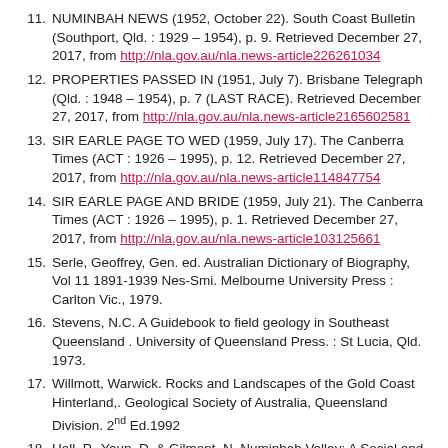11. NUMINBAH NEWS (1952, October 22). South Coast Bulletin (Southport, Qld. : 1929 – 1954), p. 9. Retrieved December 27, 2017, from http://nla.gov.au/nla.news-article226261034
12. PROPERTIES PASSED IN (1951, July 7). Brisbane Telegraph (Qld. : 1948 – 1954), p. 7 (LAST RACE). Retrieved December 27, 2017, from http://nla.gov.au/nla.news-article2165602581
13. SIR EARLE PAGE TO WED (1959, July 17). The Canberra Times (ACT : 1926 – 1995), p. 12. Retrieved December 27, 2017, from http://nla.gov.au/nla.news-article114847754
14. SIR EARLE PAGE AND BRIDE (1959, July 21). The Canberra Times (ACT : 1926 – 1995), p. 1. Retrieved December 27, 2017, from http://nla.gov.au/nla.news-article103125661
15. Serle, Geoffrey, Gen. ed. Australian Dictionary of Biography, Vol 11 1891-1939 Nes-Smi. Melbourne University Press : Carlton Vic., 1979.
16. Stevens, N.C. A Guidebook to field geology in Southeast Queensland . University of Queensland Press. : St Lucia, Qld. 1973.
17. Willmott, Warwick. Rocks and Landscapes of the Gold Coast Hinterland,. Geological Society of Australia, Queensland Division. 2nd Ed.1992
18. Hall, P., Yaun, D. & Gilmont, N. Numinbah Valley: A Social and Natural History 1840's – 1988. The Numinbah Valley Bicentennial